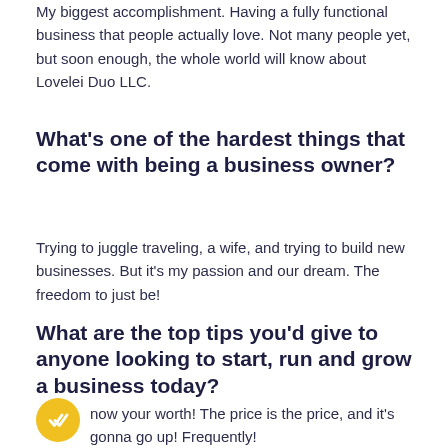My biggest accomplishment. Having a fully functional business that people actually love. Not many people yet, but soon enough, the whole world will know about Lovelei Duo LLC.
What's one of the hardest things that come with being a business owner?
Trying to juggle traveling, a wife, and trying to build new businesses. But it's my passion and our dream. The freedom to just be!
What are the top tips you'd give to anyone looking to start, run and grow a business today?
Know your worth! The price is the price, and it's gonna go up! Frequently!